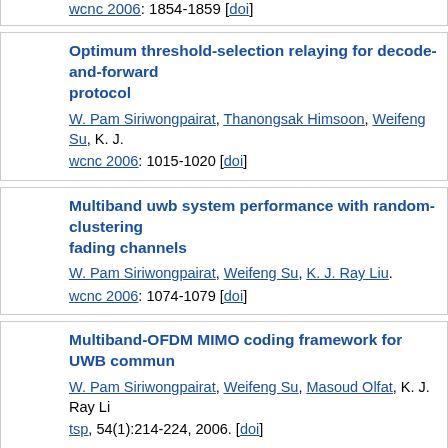wcnc 2006: 1854-1859 [doi]
Optimum threshold-selection relaying for decode-and-forward protocol
W. Pam Siriwongpairat, Thanongsak Himsoon, Weifeng Su, K. J...
wcnc 2006: 1015-1020 [doi]
Multiband uwb system performance with random-clustering fading channels
W. Pam Siriwongpairat, Weifeng Su, K. J. Ray Liu.
wcnc 2006: 1074-1079 [doi]
Multiband-OFDM MIMO coding framework for UWB commun...
W. Pam Siriwongpairat, Weifeng Su, Masoud Olfat, K. J. Ray Li...
tsp, 54(1):214-224, 2006. [doi]
Performance characterization of multiband UWB communic... Poisson cluster arriving fading paths
W. Pam Siriwongpairat, Weifeng Su, K. J. Ray Liu...